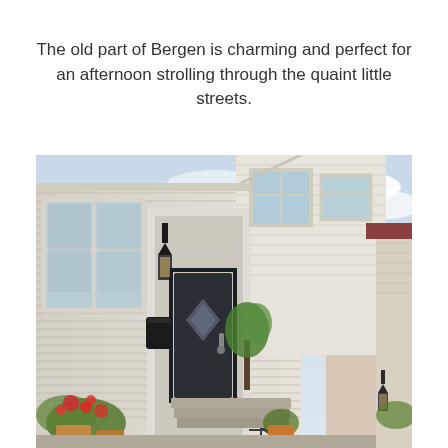The old part of Bergen is charming and perfect for an afternoon strolling through the quaint little streets.
[Figure (photo): Photograph of a traditional wooden building facade in old Bergen, Norway. The building has white clapboard siding, large windows, a dark front door with a diamond-shaped glass panel, a wall-mounted lantern light fixture, a black mailbox, and iron railings on the front steps. Red flowering plants are visible near the entrance. In the background, other historic buildings and green trees are visible under a partly cloudy sky.]